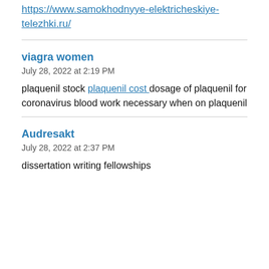https://www.samokhodnyye-elektricheskiye-telezhki.ru/
viagra women
July 28, 2022 at 2:19 PM
plaquenil stock plaquenil cost dosage of plaquenil for coronavirus blood work necessary when on plaquenil
Audresakt
July 28, 2022 at 2:37 PM
dissertation writing fellowships